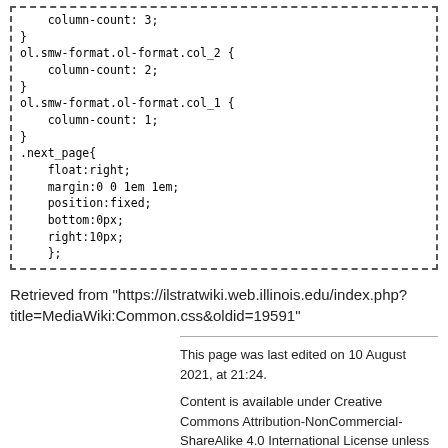column-count: 3;
}
ol.smw-format.ol-format.col_2 {
    column-count: 2;
}
ol.smw-format.ol-format.col_1 {
    column-count: 1;
}
.next_page{
    float:right;
    margin:0 0 1em 1em;
    position:fixed;
    bottom:0px;
    right:10px;
    };
Retrieved from "https://ilstratwiki.web.illinois.edu/index.php?title=MediaWiki:Common.css&oldid=19591"
This page was last edited on 10 August 2021, at 21:24.
Content is available under Creative Commons Attribution-NonCommercial-ShareAlike 4.0 International License unless otherwise noted.